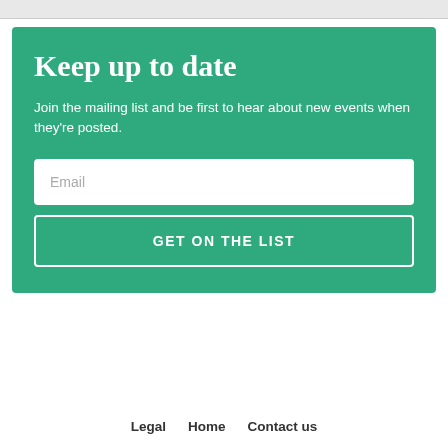Keep up to date
Join the mailing list and be first to hear about new events when they're posted.
Email
GET ON THE LIST
Legal   Home   Contact us